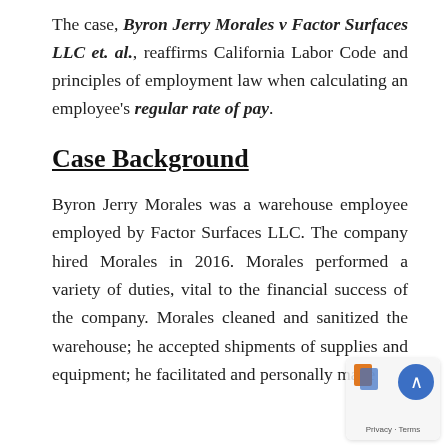The case, Byron Jerry Morales v Factor Surfaces LLC et. al., reaffirms California Labor Code and principles of employment law when calculating an employee's regular rate of pay.
Case Background
Byron Jerry Morales was a warehouse employee employed by Factor Surfaces LLC. The company hired Morales in 2016. Morales performed a variety of duties, vital to the financial success of the company. Morales cleaned and sanitized the warehouse; he accepted shipments of supplies and equipment; he facilitated and personally made...